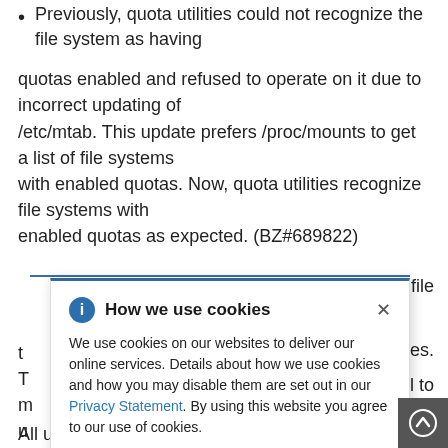Previously, quota utilities could not recognize the file system as having
quotas enabled and refused to operate on it due to incorrect updating of /etc/mtab. This update prefers /proc/mounts to get a list of file systems with enabled quotas. Now, quota utilities recognize file systems with enabled quotas as expected. (BZ#689822)
...ol on XFS file
...kilobytes. T... m... quota(8) tool to u... ... #831520)
[Figure (screenshot): Cookie consent dialog overlay: 'How we use cookies' with info icon and close X. Text: 'We use cookies on our websites to deliver our online services. Details about how we use cookies and how you may disable them are set out in our Privacy Statement. By using this website you agree to our use of cookies.']
All users of quota are advised to upgrade to this updated